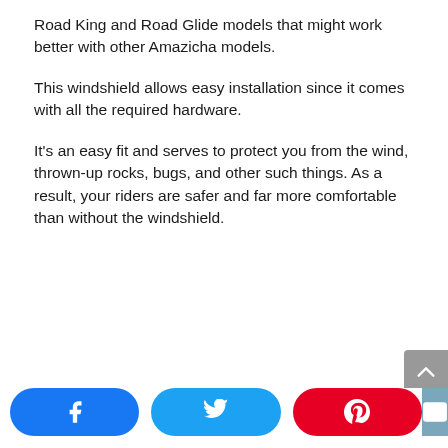Road King and Road Glide models that might work better with other Amazicha models.
This windshield allows easy installation since it comes with all the required hardware.
It's an easy fit and serves to protect you from the wind, thrown-up rocks, bugs, and other such things. As a result, your riders are safer and far more comfortable than without the windshield.
Social share buttons: Facebook, Twitter, Pinterest, Email